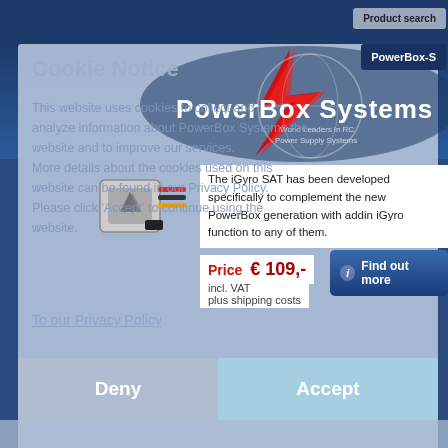Cookie Notice
This website uses cookies to collect and analyze information about PowerBox Systems the website and to improve our services. More details about the cookies used on this website can be found in our Privacy Policy. Please click 'Accept' to continue using the website.
[Figure (logo): PowerBox Systems logo with lightning bolt design. Text reads: PowerBox Systems, World Leaders in RC, Power Supply Systems]
[Figure (photo): iGyro SAT product photo - small gyro module with wires]
The iGyro SAT has been developed specifically to complement the new PowerBox generation with adding iGyro function to any of them.
Price  € 109,-
incl. VAT
plus shipping costs
Find out more
To our Privacy Policy
Deny
Accept